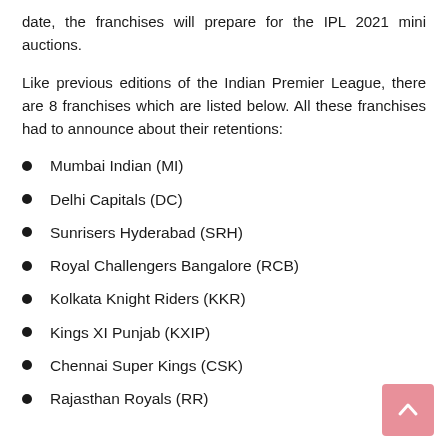date, the franchises will prepare for the IPL 2021 mini auctions.
Like previous editions of the Indian Premier League, there are 8 franchises which are listed below. All these franchises had to announce about their retentions:
Mumbai Indian (MI)
Delhi Capitals (DC)
Sunrisers Hyderabad (SRH)
Royal Challengers Bangalore (RCB)
Kolkata Knight Riders (KKR)
Kings XI Punjab (KXIP)
Chennai Super Kings (CSK)
Rajasthan Royals (RR)